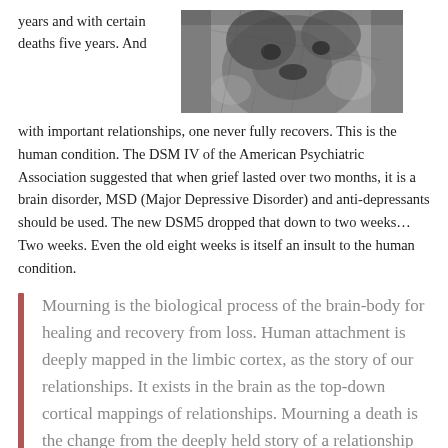years and with certain deaths five years. And
[Figure (photo): Black and white close-up photograph of what appears to be an animal, possibly a koala or similar creature, showing textured fur and facial features.]
with important relationships, one never fully recovers. This is the human condition. The DSM IV of the American Psychiatric Association suggested that when grief lasted over two months, it is a brain disorder, MSD (Major Depressive Disorder) and anti-depressants should be used. The new DSM5 dropped that down to two weeks… Two weeks. Even the old eight weeks is itself an insult to the human condition.
Mourning is the biological process of the brain-body for healing and recovery from loss. Human attachment is deeply mapped in the limbic cortex, as the story of our relationships. It exists in the brain as the top-down cortical mappings of relationships. Mourning a death is the change from the deeply held story of a relationship to a new “play” where the loved one is dead and gone.